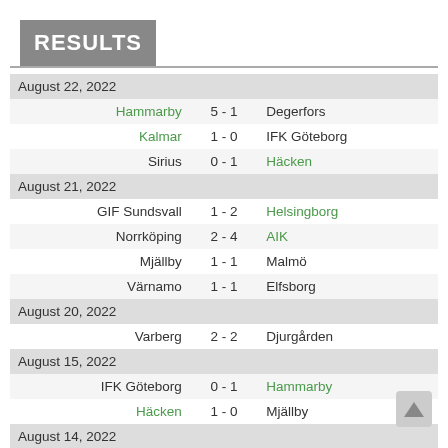RESULTS
| Home | Score | Away |
| --- | --- | --- |
| August 22, 2022 |  |  |
| Hammarby | 5 - 1 | Degerfors |
| Kalmar | 1 - 0 | IFK Göteborg |
| Sirius | 0 - 1 | Häcken |
| August 21, 2022 |  |  |
| GIF Sundsvall | 1 - 2 | Helsingborg |
| Norrköping | 2 - 4 | AIK |
| Mjällby | 1 - 1 | Malmö |
| Värnamo | 1 - 1 | Elfsborg |
| August 20, 2022 |  |  |
| Varberg | 2 - 2 | Djurgården |
| August 15, 2022 |  |  |
| IFK Göteborg | 0 - 1 | Hammarby |
| Häcken | 1 - 0 | Mjällby |
| August 14, 2022 |  |  |